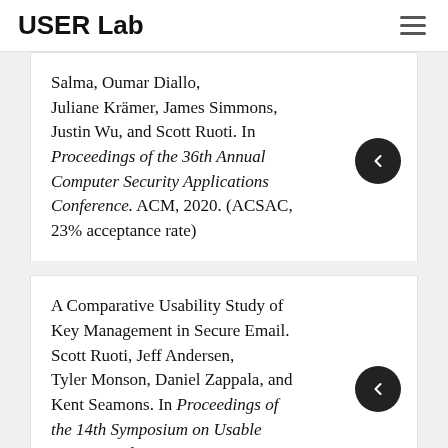USER Lab
Salma, Oumar Diallo, Juliane Krämer, James Simmons, Justin Wu, and Scott Ruoti. In Proceedings of the 36th Annual Computer Security Applications Conference. ACM, 2020. (ACSAC, 23% acceptance rate)
A Comparative Usability Study of Key Management in Secure Email. Scott Ruoti, Jeff Andersen, Tyler Monson, Daniel Zappala, and Kent Seamons. In Proceedings of the 14th Symposium on Usable Privacy and Security. USENIX, 2018.